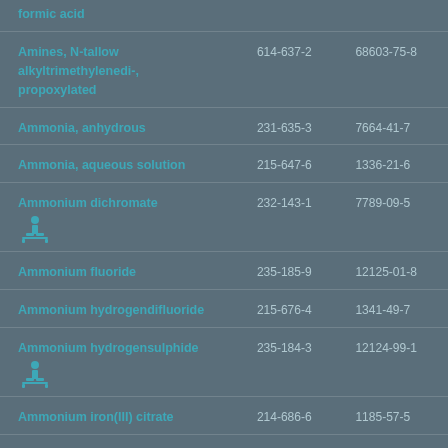| Chemical Name | EC No. | CAS No. |
| --- | --- | --- |
| formic acid |  |  |
| Amines, N-tallow alkyltrimethylenedi-, propoxylated | 614-637-2 | 68603-75-8 |
| Ammonia, anhydrous | 231-635-3 | 7664-41-7 |
| Ammonia, aqueous solution | 215-647-6 | 1336-21-6 |
| Ammonium dichromate [icon] | 232-143-1 | 7789-09-5 |
| Ammonium fluoride | 235-185-9 | 12125-01-8 |
| Ammonium hydrogendifluoride | 215-676-4 | 1341-49-7 |
| Ammonium hydrogensulphide [icon] | 235-184-3 | 12124-99-1 |
| Ammonium iron(III) citrate | 214-686-6 | 1185-57-5 |